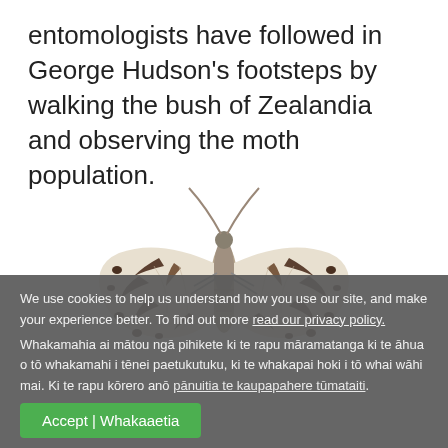entomologists have followed in George Hudson’s footsteps by walking the bush of Zealandia and observing the moth population.
[Figure (photo): A white and brown patterned moth photographed from above with wings spread, showing detailed markings and antennae.]
We use cookies to help us understand how you use our site, and make your experience better. To find out more read our privacy policy.
Whakamahia ai mātou ngā pihikete ki te rapu māramatanga ki te āhua o tō whakamahi i tēnei paetukutuku, ki te whakapai hoki i tō whai wāhi mai. Ki te rapu kōrero anō pānuitia te kaupapahere tūmataiti.
Accept | Whakaaetia